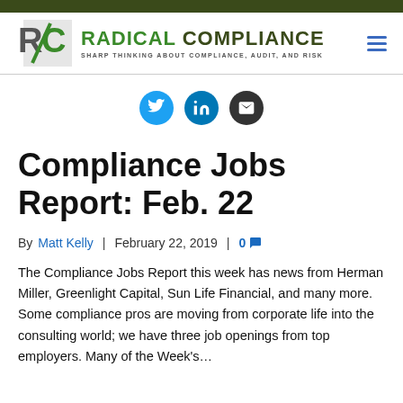RADICAL COMPLIANCE — SHARP THINKING ABOUT COMPLIANCE, AUDIT, AND RISK
[Figure (logo): Radical Compliance logo with RC initials and tagline 'Sharp thinking about compliance, audit, and risk']
[Figure (infographic): Social media share buttons: Twitter (blue), LinkedIn (blue), Email (dark gray)]
Compliance Jobs Report: Feb. 22
By Matt Kelly | February 22, 2019 | 0 comments
The Compliance Jobs Report this week has news from Herman Miller, Greenlight Capital, Sun Life Financial, and many more. Some compliance pros are moving from corporate life into the consulting world; we have three job openings from top employers. Many of the Week's...